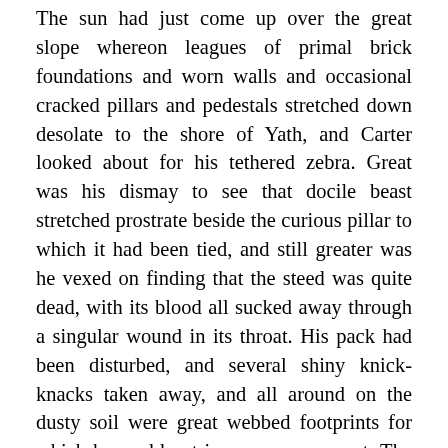The sun had just come up over the great slope whereon leagues of primal brick foundations and worn walls and occasional cracked pillars and pedestals stretched down desolate to the shore of Yath, and Carter looked about for his tethered zebra. Great was his dismay to see that docile beast stretched prostrate beside the curious pillar to which it had been tied, and still greater was he vexed on finding that the steed was quite dead, with its blood all sucked away through a singular wound in its throat. His pack had been disturbed, and several shiny knick-knacks taken away, and all around on the dusty soil were great webbed footprints for which he could not in any way account. The legends and warnings of lava-gatherers occurred to him and he thought of what had brushed his face in the night. Then he shouldered his pack and strode on toward Ngranek, though not without a shiver when he saw the great webbed footprints in the dust around